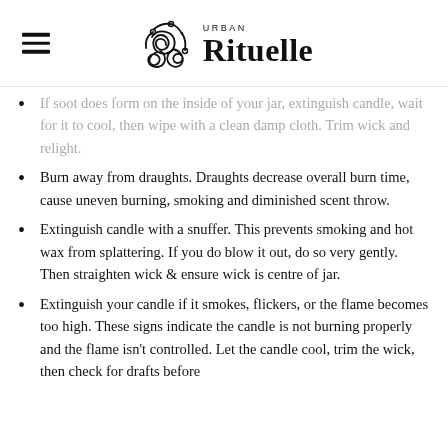[Figure (logo): Urban Rituelle logo with triple spiral Celtic symbol and brand name]
If soot does form on the inside of your jar, extinguish candle, wait for it to cool, then wipe with a clean damp cloth. Trim wick and relight.
Burn away from draughts. Draughts decrease overall burn time, cause uneven burning, smoking and diminished scent throw.
Extinguish candle with a snuffer. This prevents smoking and hot wax from splattering. If you do blow it out, do so very gently. Then straighten wick & ensure wick is centre of jar.
Extinguish your candle if it smokes, flickers, or the flame becomes too high. These signs indicate the candle is not burning properly and the flame isn't controlled. Let the candle cool, trim the wick, then check for drafts before